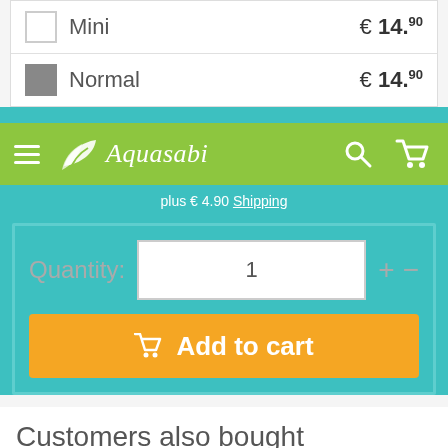Mini  € 14.90
Normal  € 14.90
[Figure (screenshot): Aquasabi website navigation bar (green) with hamburger menu, Aquasabi logo, search icon and cart icon]
plus € 4.90 Shipping
Quantity: 1
Add to cart
Customers also bought